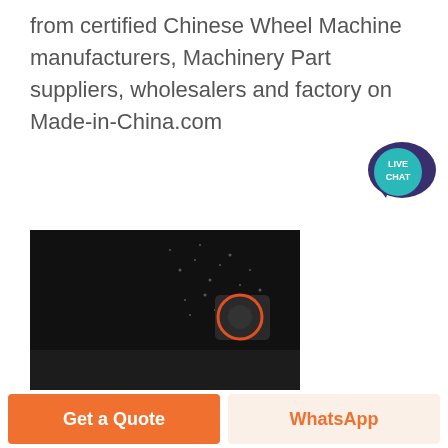from certified Chinese Wheel Machine manufacturers, Machinery Part suppliers, wholesalers and factory on Made-in-China.com
[Figure (photo): Dark industrial photo showing machinery in operation with sparks or dust particles flying, and an orange-circled component visible on the right side]
[Figure (photo): Outdoor photo of a quarry or mining/crushing facility with conveyor structures, piles of aggregate material, and equipment under a blue sky]